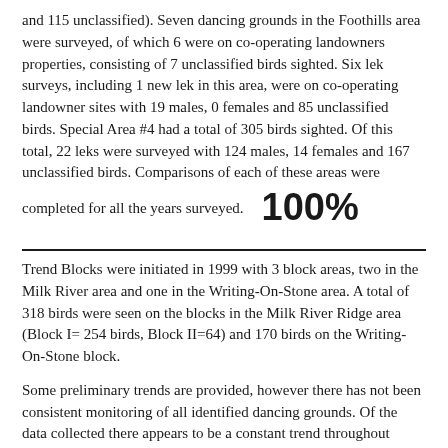and 115 unclassified). Seven dancing grounds in the Foothills area were surveyed, of which 6 were on co-operating landowners properties, consisting of 7 unclassified birds sighted. Six lek surveys, including 1 new lek in this area, were on co-operating landowner sites with 19 males, 0 females and 85 unclassified birds. Special Area #4 had a total of 305 birds sighted. Of this total, 22 leks were surveyed with 124 males, 14 females and 167 unclassified birds. Comparisons of each of these areas were completed for all the years surveyed.   100%
Trend Blocks were initiated in 1999 with 3 block areas, two in the Milk River area and one in the Writing-On-Stone area. A total of 318 birds were seen on the blocks in the Milk River Ridge area (Block I= 254 birds, Block II=64) and 170 birds on the Writing-On-Stone block.
Some preliminary trends are provided, however there has not been consistent monitoring of all identified dancing grounds. Of the data collected there appears to be a constant trend throughout many of the dancing grounds that were surveyed.